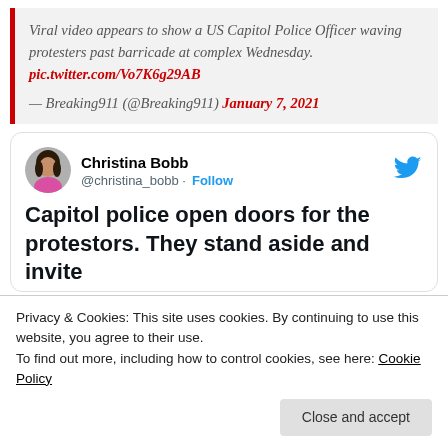Viral video appears to show a US Capitol Police Officer waving protesters past barricade at complex Wednesday. pic.twitter.com/Vo7K6g29AB
— Breaking911 (@Breaking911) January 7, 2021
[Figure (screenshot): Embedded tweet from @christina_bobb (Christina Bobb) with Follow button and Twitter bird logo. Tweet text: 'Capitol police open doors for the protestors. They stand aside and invite...']
Privacy & Cookies: This site uses cookies. By continuing to use this website, you agree to their use.
To find out more, including how to control cookies, see here: Cookie Policy
Close and accept